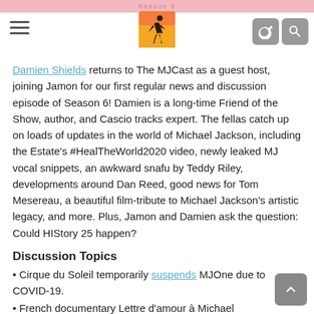Season 6 — MJCast header with logo and navigation icons
Damien Shields returns to The MJCast as a guest host, joining Jamon for our first regular news and discussion episode of Season 6! Damien is a long-time Friend of the Show, author, and Cascio tracks expert. The fellas catch up on loads of updates in the world of Michael Jackson, including the Estate's #HealTheWorld2020 video, newly leaked MJ vocal snippets, an awkward snafu by Teddy Riley, developments around Dan Reed, good news for Tom Mesereau, a beautiful film-tribute to Michael Jackson's artistic legacy, and more. Plus, Jamon and Damien ask the question: Could HIStory 25 happen?
Discussion Topics
• Cirque du Soleil temporarily suspends MJOne due to COVID-19.
• French documentary Lettre d'amour à Michael